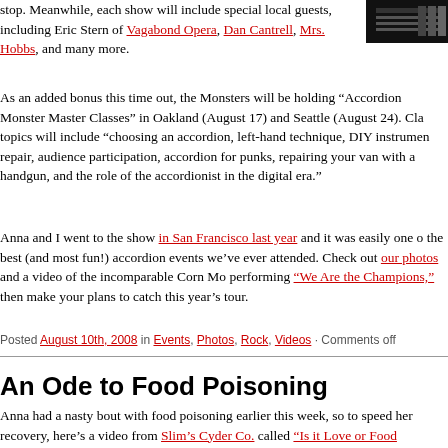stop. Meanwhile, each show will include special local guests, including Eric Stern of Vagabond Opera, Dan Cantrell, Mrs. Hobbs, and many more.
[Figure (photo): Black and white image, appears to be a keyboard or accordion keys]
As an added bonus this time out, the Monsters will be holding “Accordion Monster Master Classes” in Oakland (August 17) and Seattle (August 24). Class topics will include “choosing an accordion, left-hand technique, DIY instrument repair, audience participation, accordion for punks, repairing your van with a handgun, and the role of the accordionist in the digital era.”
Anna and I went to the show in San Francisco last year and it was easily one of the best (and most fun!) accordion events we’ve ever attended. Check out our photos and a video of the incomparable Corn Mo performing “We Are the Champions,” then make your plans to catch this year’s tour.
Posted August 10th, 2008 in Events, Photos, Rock, Videos · Comments off
An Ode to Food Poisoning
Anna had a nasty bout with food poisoning earlier this week, so to speed her recovery, here’s a video from Slim’s Cyder Co. called “Is it Love or Food Poisoning?” We’ve mentioned Slim and his gang before; they’ve been playing fun-loving, accordion-fueled country/rockabilly around the UK for more than